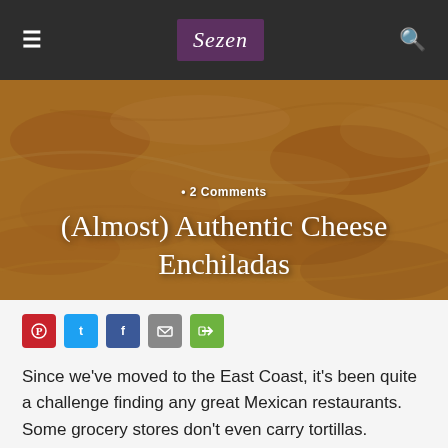Sezen
[Figure (photo): Close-up photo of baked cheese enchiladas with sauce and toppings, warm orange-brown tones]
2 Comments
(Almost) Authentic Cheese Enchiladas
[Figure (infographic): Social sharing icons row: Pinterest (red), Twitter (blue), Facebook (dark blue), Email (grey), Share (green)]
Since we've moved to the East Coast, it's been quite a challenge finding any great Mexican restaurants.  Some grocery stores don't even carry tortillas.  Missing my family's cooking, especially the enchiladas we had at gatherings, I decided to try my hand at the recipe my grandma and cousin perfected.   I have labeled these "almost" authentic since I am not yet